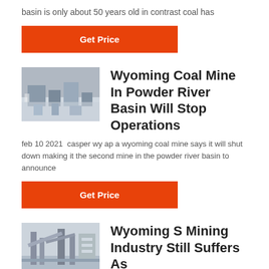basin is only about 50 years old in contrast coal has
Get Price
[Figure (photo): Aerial or overhead view of a coal mine or industrial site with equipment and vehicles]
Wyoming Coal Mine In Powder River Basin Will Stop Operations
feb 10 2021  casper wy ap a wyoming coal mine says it will shut down making it the second mine in the powder river basin to announce
Get Price
[Figure (photo): Exterior view of a mining facility or industrial structure with conveyor belts or towers]
Wyoming S Mining Industry Still Suffers As